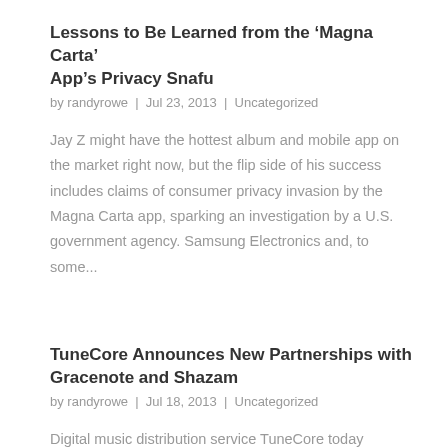Lessons to Be Learned from the ‘Magna Carta’ App’s Privacy Snafu
by randyrowe | Jul 23, 2013 | Uncategorized
Jay Z might have the hottest album and mobile app on the market right now, but the flip side of his success includes claims of consumer privacy invasion by the Magna Carta app, sparking an investigation by a U.S. government agency. Samsung Electronics and, to some...
TuneCore Announces New Partnerships with Gracenote and Shazam
by randyrowe | Jul 18, 2013 | Uncategorized
Digital music distribution service TuneCore today announced a partnership with Gracenote and Shazam. Artists that use TuneCore will now be able to add their music to the metadata database